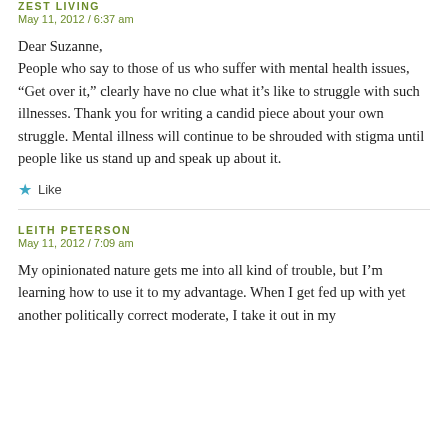ZEST LIVING
May 11, 2012 / 6:37 am
Dear Suzanne,
People who say to those of us who suffer with mental health issues, “Get over it,” clearly have no clue what it’s like to struggle with such illnesses. Thank you for writing a candid piece about your own struggle. Mental illness will continue to be shrouded with stigma until people like us stand up and speak up about it.
★ Like
LEITH PETERSON
May 11, 2012 / 7:09 am
My opinionated nature gets me into all kind of trouble, but I’m learning how to use it to my advantage. When I get fed up with yet another politically correct moderate, I take it out in my